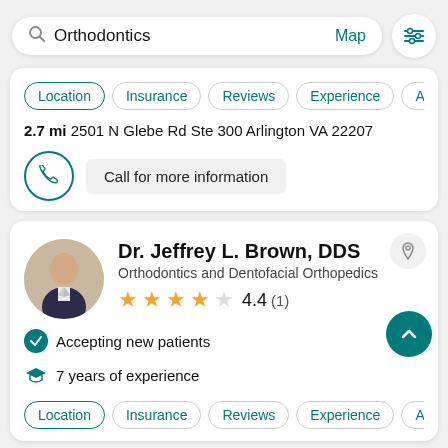[Figure (screenshot): Search bar with 'Orthodontics' text and Map link, plus filter button]
2.7 mi 2501 N Glebe Rd Ste 300 Arlington VA 22207
Call for more information
Dr. Jeffrey L. Brown, DDS
Orthodontics and Dentofacial Orthopedics
4.4 (1)
Accepting new patients
7 years of experience